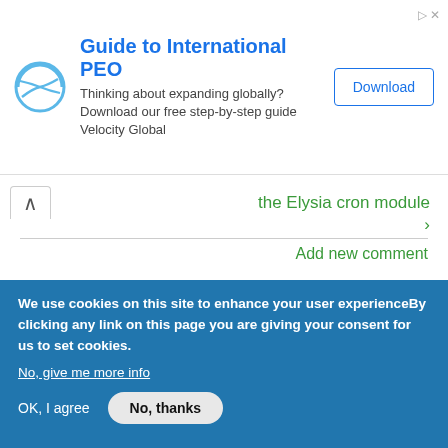[Figure (other): Advertisement banner: Guide to International PEO – Velocity Global with Download button]
the Elysia cron module
›
Add new comment
Comments
Interesting case study. Just
Submitted by mesch (not verified) on Mon, 2014/08/04 - 13:12
We use cookies on this site to enhance your user experienceBy clicking any link on this page you are giving your consent for us to set cookies.
No, give me more info
OK, I agree
No, thanks